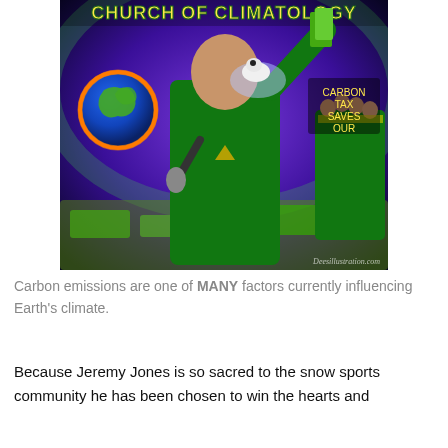[Figure (illustration): Satirical illustration titled 'Church of Climatology' showing a man in a green suit holding a microphone and raising money in the air, with a polar bear on melting ice, a globe, a choir in green robes, and text reading 'Carbon Tax Saves Our Earth'. Watermark: Deesillustration.com]
Carbon emissions are one of MANY factors currently influencing Earth's climate.
Because Jeremy Jones is so sacred to the snow sports community he has been chosen to win the hearts and